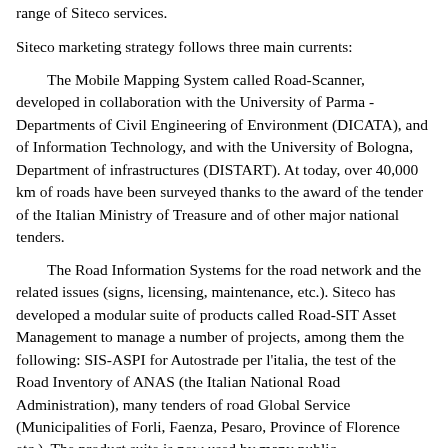range of Siteco services.
Siteco marketing strategy follows three main currents:
The Mobile Mapping System called Road-Scanner, developed in collaboration with the University of Parma - Departments of Civil Engineering of Environment (DICATA), and of Information Technology, and with the University of Bologna, Department of infrastructures (DISTART). At today, over 40,000 km of roads have been surveyed thanks to the award of the tender of the Italian Ministry of Treasure and of other major national tenders.
The Road Information Systems for the road network and the related issues (signs, licensing, maintenance, etc.). Siteco has developed a modular suite of products called Road-SIT Asset Management to manage a number of projects, among them the following: SIS-ASPI for Autostrade per l'italia, the test of the Road Inventory of ANAS (the Italian National Road Administration), many tenders of road Global Service (Municipalities of Forli, Faenza, Pesaro, Province of Florence etc.). The product suite is now used by many public administrations, even of small size.
The Pavement Management System Road-SIT PMS Roads and Road-SIT PMS Airports. The two systems use the Mobile Mapping System Road-Scanner equipped with rear high-